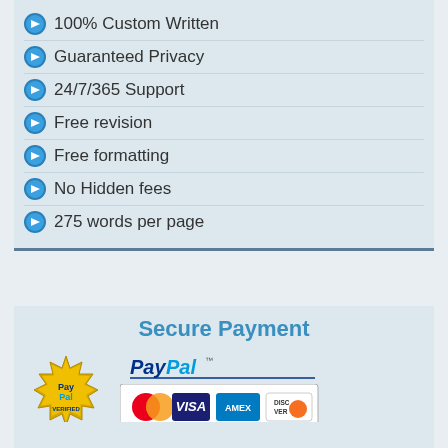100% Custom Written
Guaranteed Privacy
24/7/365 Support
Free revision
Free formatting
No Hidden fees
275 words per page
Secure Payment
[Figure (logo): PayPal Verified seal badge (gold) and PayPal payment accepted logo with MasterCard, Visa, AMEX, Discover card icons]